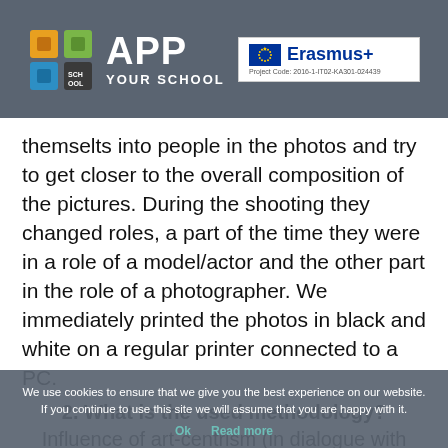[Figure (logo): App Your School logo with colorful grid icon and Erasmus+ project badge on dark grey header bar]
themselts into people in the photos and try to get closer to the overall composition of the pictures. During the shooting they changed roles, a part of the time they were in a role of a model/actor and the other part in the role of a photographer. We immediately printed the photos in black and white on a regular printer connected to a PC.
2. What is the used methodology?
Influence of art-centrism (in dialogue with
We use cookies to ensure that we give you the best experience on our website. If you continue to use this site we will assume that you are happy with it.